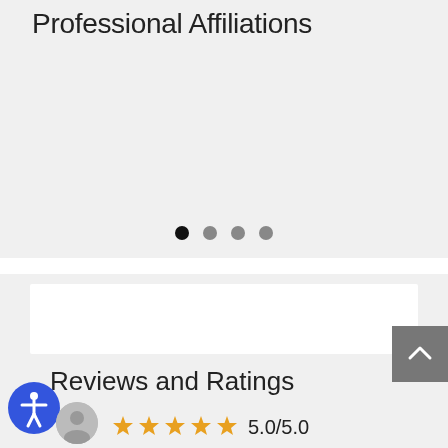Professional Affiliations
[Figure (other): Carousel with 4 navigation dots; first dot is active (dark), remaining three are gray]
Reviews and Ratings
[Figure (other): 5 orange/gold star rating icons followed by rating text 5.0/5.0]
[Figure (other): Accessibility icon - blue circle with white person/wheelchair symbol]